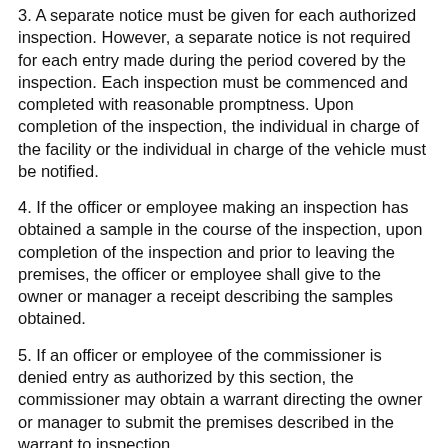3. A separate notice must be given for each authorized inspection. However, a separate notice is not required for each entry made during the period covered by the inspection. Each inspection must be commenced and completed with reasonable promptness. Upon completion of the inspection, the individual in charge of the facility or the individual in charge of the vehicle must be notified.
4. If the officer or employee making an inspection has obtained a sample in the course of the inspection, upon completion of the inspection and prior to leaving the premises, the officer or employee shall give to the owner or manager a receipt describing the samples obtained.
5. If an officer or employee of the commissioner is denied entry as authorized by this section, the commissioner may obtain a warrant directing the owner or manager to submit the premises described in the warrant to inspection.
6. Any officer or employee of the commissioner authorized to enter any structure or vehicle in accordance with this section, may obtain samples and examine records relating to distribution of commercial feeds.
7. Sampling and analysis under this section must be conducted in accordance with generally recognized